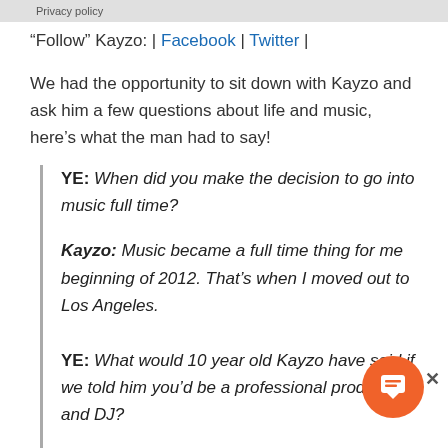Privacy policy
“Follow” Kayzo: | Facebook | Twitter |
We had the opportunity to sit down with Kayzo and ask him a few questions about life and music, here’s what the man had to say!
YE: When did you make the decision to go into music full time?
Kayzo: Music became a full time thing for me beginning of 2012. That’s when I moved out to Los Angeles.
YE: What would 10 year old Kayzo have said if we told him you’d be a professional producer and DJ?
Kayzo: He would have laughed. Laughed some and then would of gone on to play some hockey. I